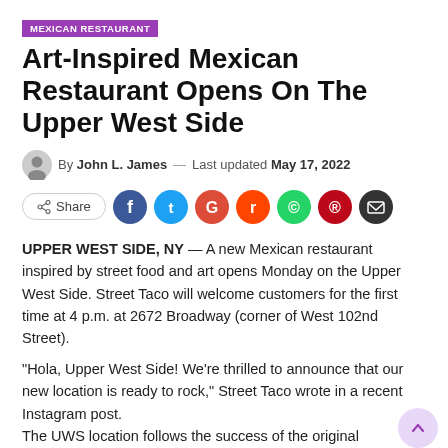MEXICAN RESTAURANT
Art-Inspired Mexican Restaurant Opens On The Upper West Side
By John L. James — Last updated May 17, 2022
[Figure (infographic): Social share buttons: Share, Facebook, Twitter, Google, Reddit, WhatsApp, Pinterest, Email]
UPPER WEST SIDE, NY — A new Mexican restaurant inspired by street food and art opens Monday on the Upper West Side. Street Taco will welcome customers for the first time at 4 p.m. at 2672 Broadway (corner of West 102nd Street).
“Hola, Upper West Side! We’re thrilled to announce that our new location is ready to rock,” Street Taco wrote in a recent Instagram post.
The UWS location follows the success of the original Gramercy outpost, led by Executive Chef Jonathan Ruiz.